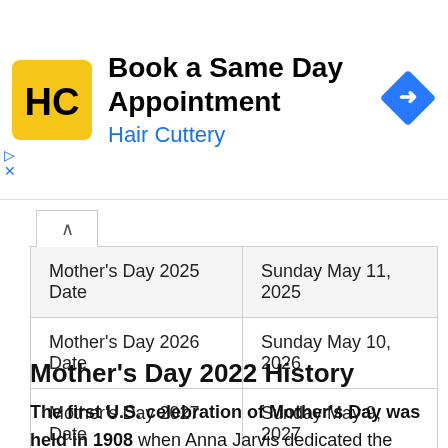[Figure (other): Hair Cuttery advertisement banner with yellow HC logo, text 'Book a Same Day Appointment' and 'Hair Cuttery', and a blue diamond-shaped navigation icon]
| Mother's Day 2025 Date | Sunday May 11, 2025 |
| Mother's Day 2026 Date | Sunday May 10, 2026 |
| Mother's Day 2027 Date | Sunday May 9, 2027 |
Mother's Day 2022 History
The first U.S. celebration of Mother's Day was held in 1908 when Anna Jarvis dedicated the occasion to honor her mother, Ann Reese Jarvis, who had died three years before. At memory of her mother, Anna established a Shrine in St. Andrews Methodist Church in West Virginia, which is now a year-round tribute to all mothers. To celebrate her mother, Anna Jarvis set up the Anna C. Jarvies Foundation, which